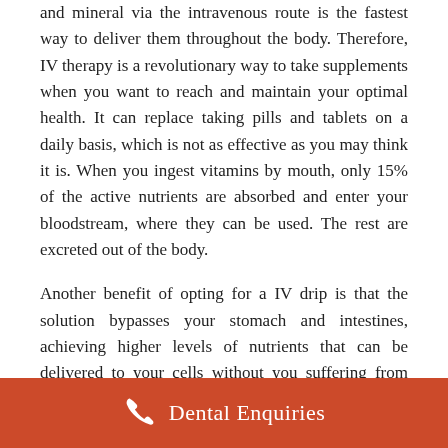and mineral via the intravenous route is the fastest way to deliver them throughout the body. Therefore, IV therapy is a revolutionary way to take supplements when you want to reach and maintain your optimal health. It can replace taking pills and tablets on a daily basis, which is not as effective as you may think it is. When you ingest vitamins by mouth, only 15% of the active nutrients are absorbed and enter your bloodstream, where they can be used. The rest are excreted out of the body.
Another benefit of opting for a IV drip is that the solution bypasses your stomach and intestines, achieving higher levels of nutrients that can be delivered to your cells without you suffering from side effects. For example, high oral intake levels of Vitamin C and Magnesium can cause you to have an
Dental Enquiries